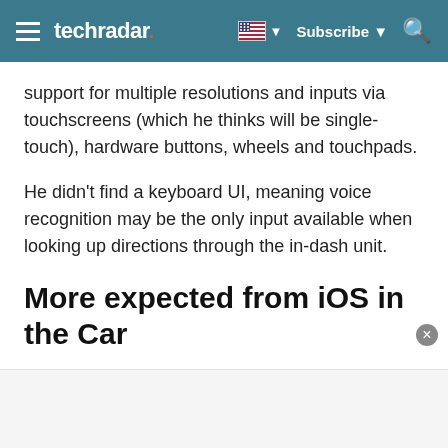techradar
support for multiple resolutions and inputs via touchscreens (which he thinks will be single-touch), hardware buttons, wheels and touchpads.
He didn't find a keyboard UI, meaning voice recognition may be the only input available when looking up directions through the in-dash unit.
More expected from iOS in the Car
Also not present in this video but promised by Apple is Siri Eyes Free to handle calls, texts and music